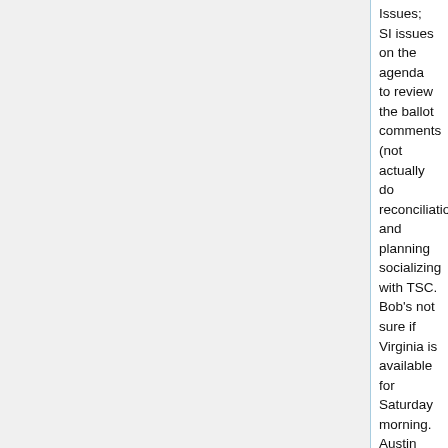Issues; SI issues on the agenda to review the ballot comments (not actually do reconciliation), and planning socializing with TSC. Bob's not sure if Virginia is available for Saturday morning. Austin suggests we move Quality plan to Q4 with ArB and Tooling.
By the way, Quality Plan conference call for today is cancelled.
Ravi asks what the attendee count is – Lynn says 150; Ken confirms 149.
15. Discussion Topics:
TSC SWOT - review
Austin noted Threats